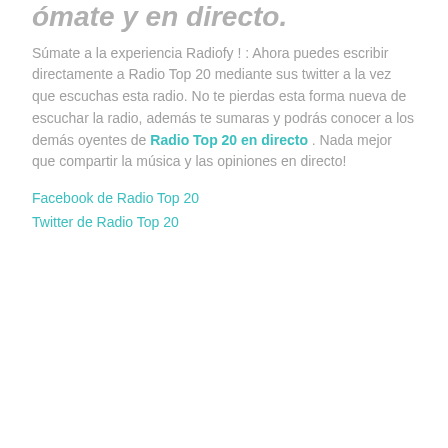ómate y en directo.
Súmate a la experiencia Radiofy ! : Ahora puedes escribir directamente a Radio Top 20 mediante sus twitter a la vez que escuchas esta radio. No te pierdas esta forma nueva de escuchar la radio, además te sumaras y podrás conocer a los demás oyentes de Radio Top 20 en directo . Nada mejor que compartir la música y las opiniones en directo!
Facebook de Radio Top 20
Twitter de Radio Top 20